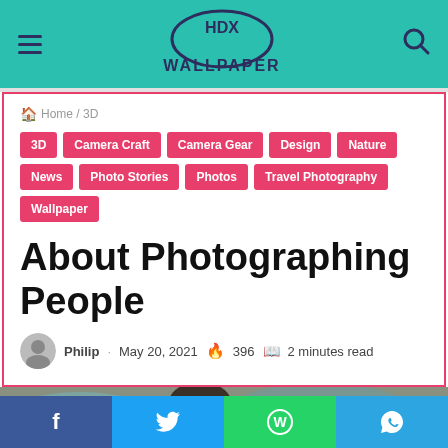HDX WALLPAPER
Home / 3D
3D
Camera Craft
Camera Gear
Design
Nature
News
Photo Stories
Photos
Travel Photography
Wallpaper
About Photographing People
Philip · May 20, 2021 🔥 396 📖 2 minutes read
[Figure (photo): Partial photo of a person outdoors, visible from shoulders up, blurred background with street scene]
Facebook Twitter WhatsApp Telegram share buttons